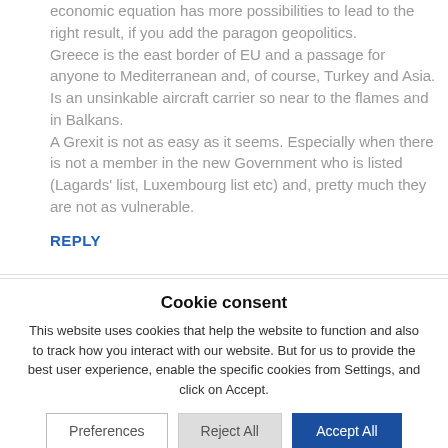economic equation has more possibilities to lead to the right result, if you add the paragon geopolitics.
Greece is the east border of EU and a passage for anyone to Mediterranean and, of course, Turkey and Asia. Is an unsinkable aircraft carrier so near to the flames and in Balkans.
A Grexit is not as easy as it seems. Especially when there is not a member in the new Government who is listed (Lagards' list, Luxembourg list etc) and, pretty much they are not as vulnerable.
REPLY
Cookie consent
This website uses cookies that help the website to function and also to track how you interact with our website. But for us to provide the best user experience, enable the specific cookies from Settings, and click on Accept.